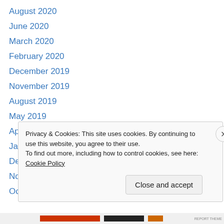August 2020
June 2020
March 2020
February 2020
December 2019
November 2019
August 2019
May 2019
April 2019
January 2019
December 2018
November 2018
October 2018
Privacy & Cookies: This site uses cookies. By continuing to use this website, you agree to their use. To find out more, including how to control cookies, see here: Cookie Policy